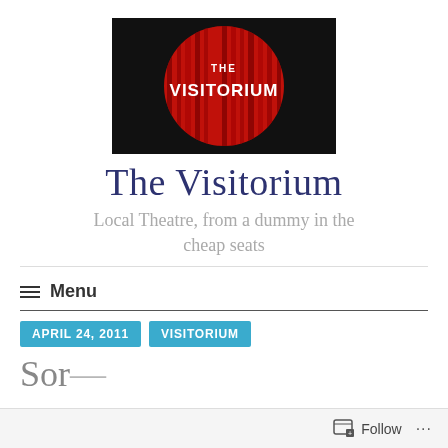[Figure (logo): The Visitorium logo: black rectangular background with a red circle containing vertical red curtain stripes and white text 'THE VISITORIUM']
The Visitorium
Local Theatre, from a dummy in the cheap seats
≡ Menu
APRIL 24, 2011
VISITORIUM
Follow